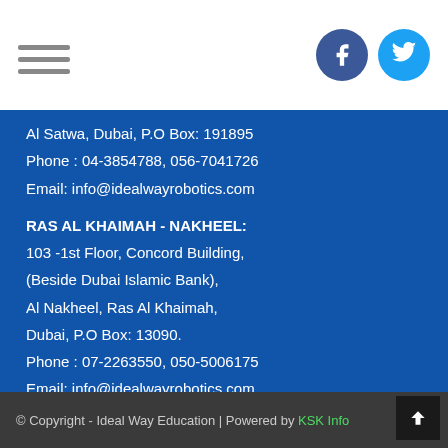Navigation menu and social icons (Facebook, Twitter)
Al Satwa, Dubai, P.O Box: 191895
Phone : 04-3854788, 056-7041726
Email: info@idealwayrobotics.com
RAS AL KHAIMAH - NAKHEEL:
103 -1st Floor, Concord Building,
(Beside Dubai Islamic Bank),
Al Nakheel, Ras Al Khaimah,
Dubai, P.O Box: 13090.
Phone : 07-2263550, 050-5006175
Email: info@idealwayrobotics.com
© Copyright - Ideal Way Education | Powered by KSK Info